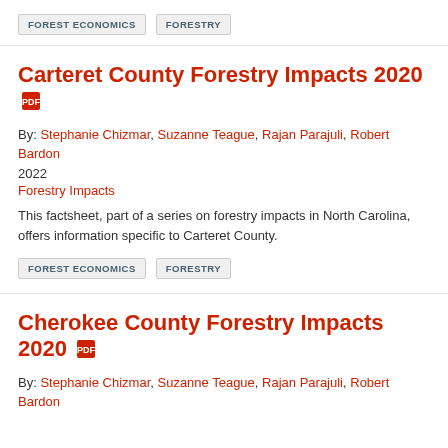FOREST ECONOMICS   FORESTRY
Carteret County Forestry Impacts 2020
By: Stephanie Chizmar, Suzanne Teague, Rajan Parajuli, Robert Bardon
2022
Forestry Impacts
This factsheet, part of a series on forestry impacts in North Carolina, offers information specific to Carteret County.
FOREST ECONOMICS   FORESTRY
Cherokee County Forestry Impacts 2020
By: Stephanie Chizmar, Suzanne Teague, Rajan Parajuli, Robert Bardon